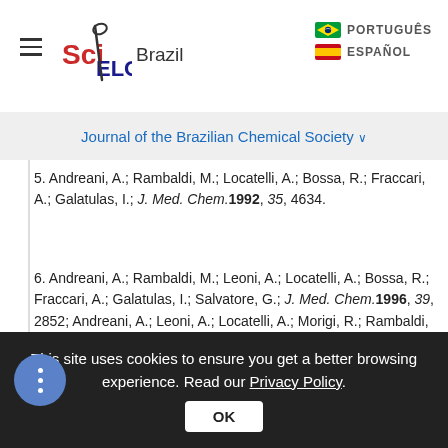SciELO Brazil — Journal of the Brazilian Chemical Society
Journal of the Brazilian Chemical Society
5. Andreani, A.; Rambaldi, M.; Locatelli, A.; Bossa, R.; Fraccari, A.; Galatulas, I.; J. Med. Chem.1992, 35, 4634.
6. Andreani, A.; Rambaldi, M.; Leoni, A.; Locatelli, A.; Bossa, R.; Fraccari, A.; Galatulas, I.; Salvatore, G.; J. Med. Chem.1996, 39, 2852; Andreani, A.; Leoni, A.; Locatelli, A.; Morigi, R.; Rambaldi, M.; Recanatinia, M.; Garaliene, V.; Bioorg. Med. Chem.2000, 8, 2359.
7. Gadad, A. K.; Mahajanshetti, C. S.; Nimbalkar,
This site uses cookies to ensure you get a better browsing experience. Read our Privacy Policy.